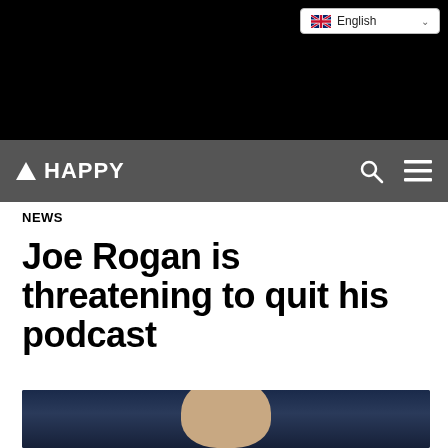HAPPY
NEWS
Joe Rogan is threatening to quit his podcast
[Figure (photo): Photo of Joe Rogan with wide eyes against a dark blue background]